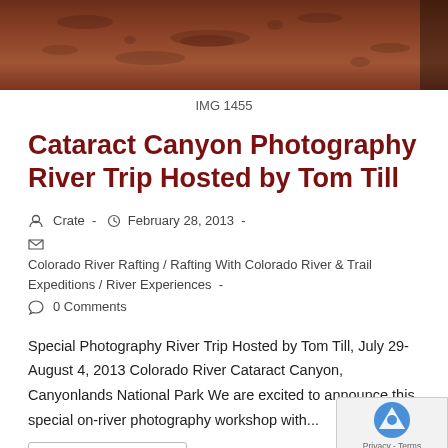[Figure (photo): Close-up photo of red rock canyon wall texture at the top of the page]
IMG 1455
Cataract Canyon Photography River Trip Hosted by Tom Till
Crate  -  February 28, 2013  -  Colorado River Rafting / Rafting With Colorado River & Trail Expeditions / River Experiences  -  0 Comments
Special Photography River Trip Hosted by Tom Till, July 29-August 4, 2013 Colorado River Cataract Canyon, Canyonlands National Park We are excited to announce this special on-river photography workshop with...